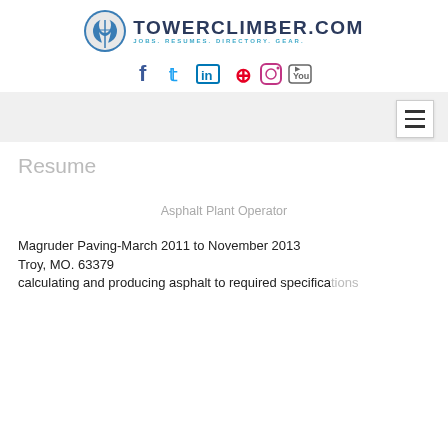[Figure (logo): TowerClimber.com logo with circular icon of person climbing tower and tagline JOBS. RESUMES. DIRECTORY. GEAR.]
[Figure (infographic): Social media icons: Facebook, Twitter, LinkedIn, Pinterest, Instagram, YouTube]
[Figure (other): Navigation bar with hamburger menu button on right side]
Resume
Asphalt Plant Operator
Magruder Paving-March 2011 to November 2013
Troy, MO. 63379
calculating and producing asphalt to required specifications